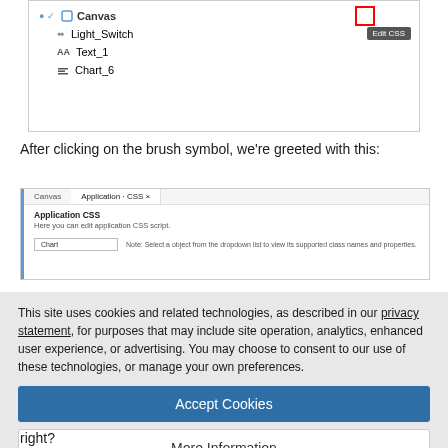[Figure (screenshot): Screenshot showing a UI tree with Canvas selected, Light_Switch, Text_1, and Chart_6 items, with a red-highlighted brush icon and an 'Edit CSS' tooltip button]
After clicking on the brush symbol, we're greeted with this:
[Figure (screenshot): Screenshot of Application CSS editor panel with Canvas tab selected, showing Application CSS header, a dropdown set to 'Chart', and a note about selecting an object from the dropdown]
This site uses cookies and related technologies, as described in our privacy statement, for purposes that may include site operation, analytics, enhanced user experience, or advertising. You may choose to consent to our use of these technologies, or manage your own preferences.
Accept Cookies
More Information
Privacy Policy | Powered by: TrustArc
right?